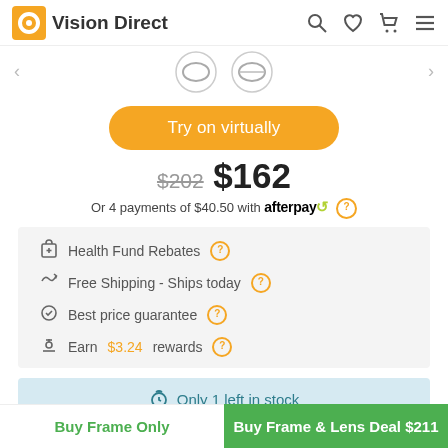Vision Direct
[Figure (screenshot): Two eyeglass frame thumbnail images in a product carousel]
Try on virtually
$202 $162
Or 4 payments of $40.50 with afterpay ?
Health Fund Rebates ?
Free Shipping - Ships today ?
Best price guarantee ?
Earn $3.24 rewards ?
Only 1 left in stock
Buy Frame Only
Buy Frame & Lens Deal $211